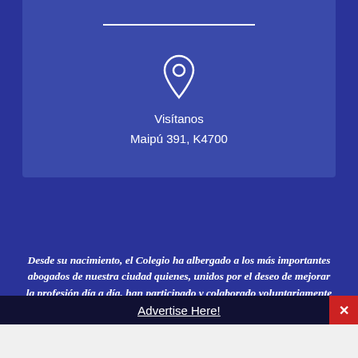[Figure (illustration): Location pin / map marker icon in white on blue background]
Visítanos
Maipú 391, K4700
Desde su nacimiento, el Colegio ha albergado a los más importantes abogados de nuestra ciudad quienes, unidos por el deseo de mejorar la profesión día a día, han participado y colaborado voluntariamente con su crecimiento y grandeza.
Advertise Here!